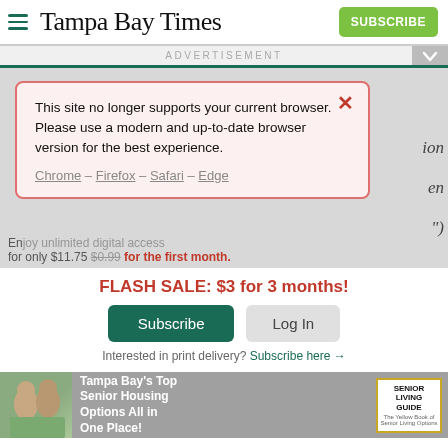Tampa Bay Times — SUBSCRIBE
ADVERTISEMENT
[Figure (screenshot): Browser compatibility warning popup with red border on pink background. Text reads: 'This site no longer supports your current browser. Please use a modern and up-to-date browser version for the best experience.' Links: Chrome – Firefox – Safari – Edge]
for only $11.75 $0.99 for the first month.
FLASH SALE: $3 for 3 months!
Subscribe   Log In
Interested in print delivery? Subscribe here →
[Figure (photo): Tampa Bay Senior Living Guide advertisement at bottom. Shows elderly couple on bikes. Text: Tampa Bay's Top Senior Housing Options All in One Place! Senior Living Guide logo.]